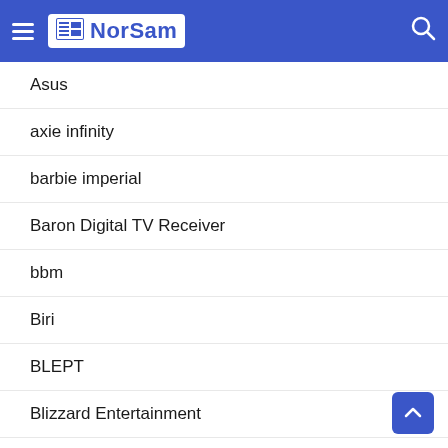NorSam
Asus
axie infinity
barbie imperial
Baron Digital TV Receiver
bbm
Biri
BLEPT
Blizzard Entertainment
Blog Matters
blogging
Bobon
bohol lady rider